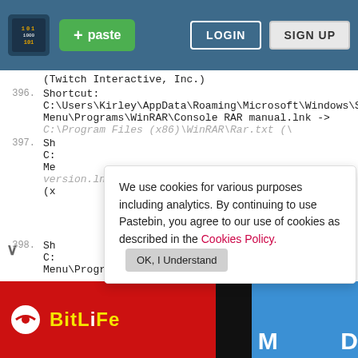Pastebin navbar with paste button, login and sign up
(Twitch Interactive, Inc.)
396.  Shortcut:
C:\Users\Kirley\AppData\Roaming\Microsoft\Windows\St
Menu\Programs\WinRAR\Console RAR manual.lnk ->
C:\Program Files (x86)\WinRAR\Rar.txt (\
397.  Sh
C:
Me
version.lnk -> C:\Program Files
(x
[Figure (screenshot): Cookie consent popup: 'We use cookies for various purposes including analytics. By continuing to use Pastebin, you agree to our use of cookies as described in the Cookies Policy.' with OK I Understand button]
398.  Sh
C:
Menu\Programs\WinRAR\WinRAR help.lnk -> C:\Progra
[Figure (screenshot): Sign up popup with HELLO speech bubble icon: 'Not a member of Pastebin yet? Sign Up, it unlocks many cool features!']
[Figure (screenshot): BitLife advertisement banner in red and black and blue]